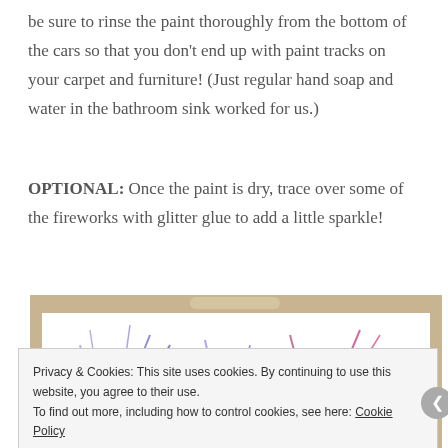be sure to rinse the paint thoroughly from the bottom of the cars so that you don't end up with paint tracks on your carpet and furniture! (Just regular hand soap and water in the bathroom sink worked for us.)
OPTIONAL: Once the paint is dry, trace over some of the fireworks with glitter glue to add a little sparkle!
[Figure (photo): Photo of a white cardboard box lid containing colorful paint streak fireworks art made with toy cars, with blue, red, and pink paint strokes visible on white paper inside the box.]
Privacy & Cookies: This site uses cookies. By continuing to use this website, you agree to their use.
To find out more, including how to control cookies, see here: Cookie Policy
Close and accept